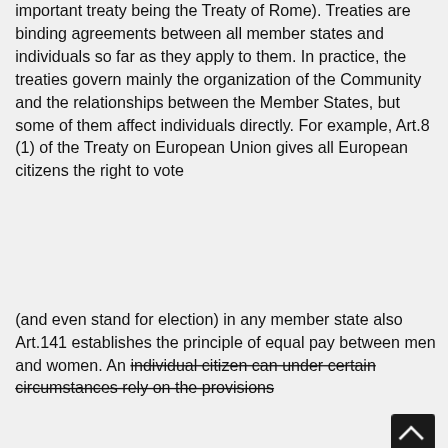important treaty being the Treaty of Rome). Treaties are binding agreements between all member states and individuals so far as they apply to them. In practice, the treaties govern mainly the organization of the Community and the relationships between the Member States, but some of them affect individuals directly. For example, Art.8 (1) of the Treaty on European Union gives all European citizens the right to vote
(and even stand for election) in any member state also Art.141 establishes the principle of equal pay between men and women. An individual citizen can under certain circumstances rely on the provisions [of the treaty against their own government or against another individual. This is known as direct effect of treaty provisions. It up a domestic ... avoid Treaty, ... ed ... uld ... t), ... y.
[Figure (screenshot): Cookie consent overlay dialog with blue background reading 'This website uses cookies to ensure you get the best experience on our website. Our partners will collect data and use cookies for ad personalization and measurement.' with a 'Learn how we and our partners collect and use data.' link and an OK button.]
brought a claim for sex discrimination under Art.119 of the EC Treaty. In